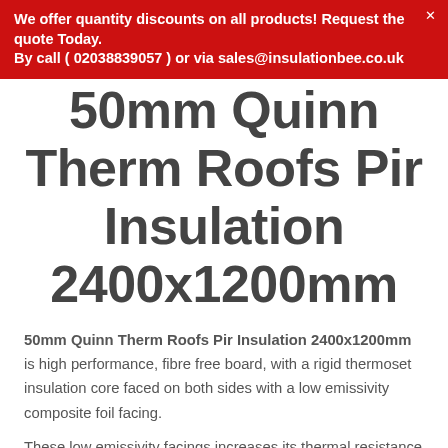We offer quantity discounts on all products! Request the quote Today.
By call ( 02038839057 ) or via sales@insulationbee.co.uk
50mm Quinn Therm Roofs Pir Insulation 2400x1200mm
50mm Quinn Therm Roofs Pir Insulation 2400x1200mm is high performance, fibre free board, with a rigid thermoset insulation core faced on both sides with a low emissivity composite foil facing.
These low emissivity facings increases its thermal resistance of unventilated air space adjacent to the insulation, improving the roof's overall thermal performance.
Designed for warm pitched or ventilated cold flat roof